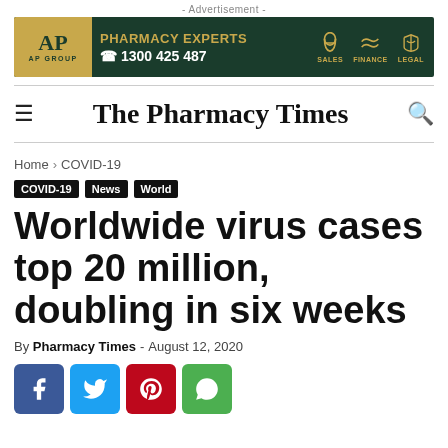[Figure (other): Advertisement banner for AP Group pharmacy experts with phone number 1300 425 487, and icons for Sales, Finance, Legal]
The Pharmacy Times
Home › COVID-19
COVID-19
News
World
Worldwide virus cases top 20 million, doubling in six weeks
By Pharmacy Times - August 12, 2020
[Figure (other): Social media share buttons: Facebook, Twitter, Pinterest, WhatsApp]